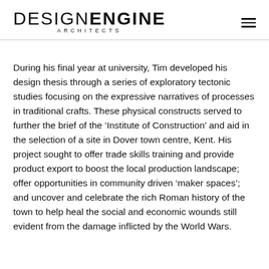DESIGN ENGINE ARCHITECTS
During his final year at university, Tim developed his design thesis through a series of exploratory tectonic studies focusing on the expressive narratives of processes in traditional crafts. These physical constructs served to further the brief of the ‘Institute of Construction’ and aid in the selection of a site in Dover town centre, Kent. His project sought to offer trade skills training and provide product export to boost the local production landscape; offer opportunities in community driven ‘maker spaces’; and uncover and celebrate the rich Roman history of the town to help heal the social and economic wounds still evident from the damage inflicted by the World Wars.